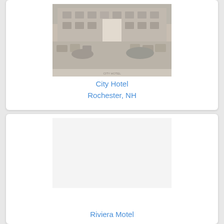[Figure (photo): Black and white historical photograph of City Hotel interior or exterior, Rochester NH]
City Hotel
Rochester, NH
[Figure (photo): Photo placeholder for Riviera Motel listing (image not visible)]
Riviera Motel